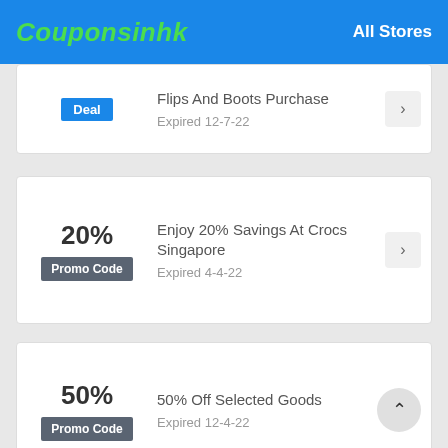Couponsinhk  All Stores
Flips And Boots Purchase
Expired 12-7-22
Deal
20%
Promo Code
Enjoy 20% Savings At Crocs Singapore
Expired 4-4-22
50%
Promo Code
50% Off Selected Goods
Expired 12-4-22